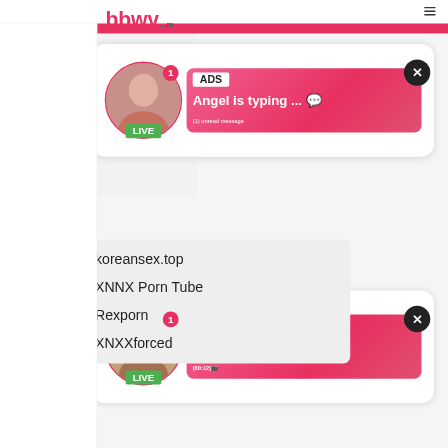bbwy...m
[Figure (screenshot): Ad notification card 1: avatar with LIVE badge, gradient box with ADS label, 'Angel is typing ... (1) unread message']
[Figure (screenshot): Ad notification card 2: avatar with LIVE badge, gradient box with ADS label, 'Jeniffer 2000 (00:12)']
koreansex.top
XNNX Porn Tube
Rexporn
XNXXforced